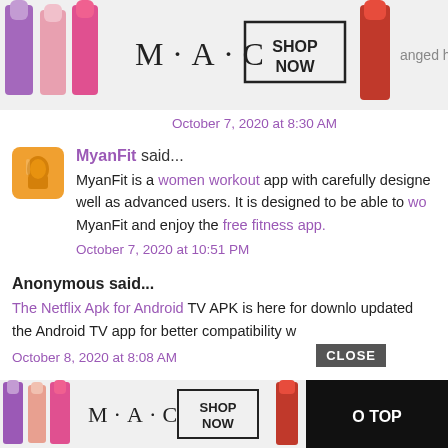[Figure (photo): MAC cosmetics advertisement banner at top showing lipsticks, MAC logo, and SHOP NOW button with partial text 'anged he']
October 7, 2020 at 8:30 AM
MyanFit said...
MyanFit is a women workout app with carefully designed well as advanced users. It is designed to be able to wo MyanFit and enjoy the free fitness app.
October 7, 2020 at 10:51 PM
Anonymous said...
The Netflix Apk for Android TV APK is here for downlo updated the Android TV app for better compatibility w
October 8, 2020 at 8:08 AM
[Figure (photo): MAC cosmetics advertisement banner at bottom showing lipsticks, MAC logo, SHOP NOW button, CLOSE button, and O TOP button]